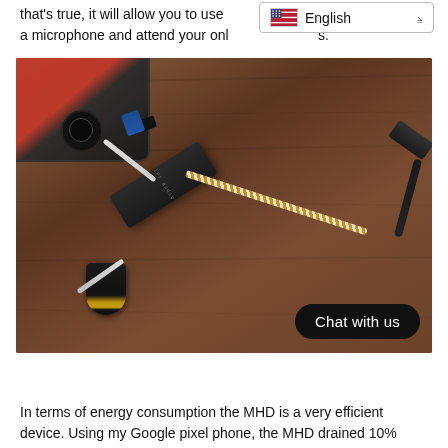that's true, it will allow you to use ... with a microphone and attend your onl... s.
[Figure (photo): Photo of a portable DAC (iFi Go Blu or similar small black USB DAC device) connected to a smartphone via USB cable, with a braided headphone cable attached, all resting on a wooden surface. A 'Chat with us' button overlay appears in the bottom right.]
In terms of energy consumption the MHD is a very efficient device. Using my Google pixel phone, the MHD drained 10%